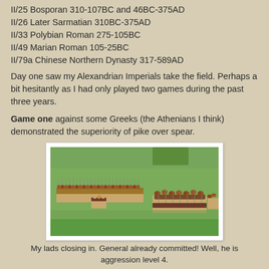II/25 Bosporan 310-107BC and 46BC-375AD
II/26 Later Sarmatian 310BC-375AD
II/33 Polybian Roman 275-105BC
II/49 Marian Roman 105-25BC
II/79a Chinese Northern Dynasty 317-589AD
Day one saw my Alexandrian Imperials take the field. Perhaps a bit hesitantly as I had only played two games during the past three years.
Game one against some Greeks (the Athenians I think) demonstrated the superiority of pike over spear.
[Figure (photo): Two armies of miniature figures facing each other on a green gaming mat. Left side shows a long line of pike/spear infantry with a commander figure in the center. Right side shows a group of cavalry and infantry figures.]
My lads closing in.  General already committed!  Well, he is aggression level 4.